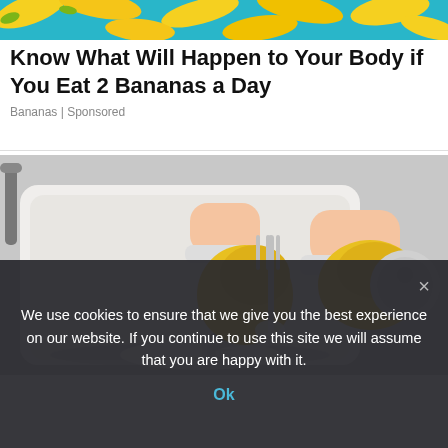[Figure (photo): Banner image with yellow bananas on a teal/blue background]
Know What Will Happen to Your Body if You Eat 2 Bananas a Day
Bananas | Sponsored
[Figure (photo): Hands wearing yellow rubber gloves washing dishes (silverware and a lid) in a white kitchen sink with soap suds]
We use cookies to ensure that we give you the best experience on our website. If you continue to use this site we will assume that you are happy with it.
Ok